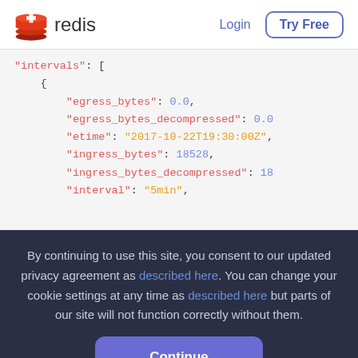redis  Login  Try Free
"intervals": [
    {
        "egress_bytes": 0.0,
        "egress_bytes_decompressed": 0.0
        "etime": "2017-10-22T19:30:00Z",
        "ingress_bytes": 18528,
        "ingress_bytes_decompressed": 18...
        "interval": "5min",
By continuing to use this site, you consent to our updated privacy agreement as described here. You can change your cookie settings at any time as described here but parts of our site will not function correctly without them.
Continue